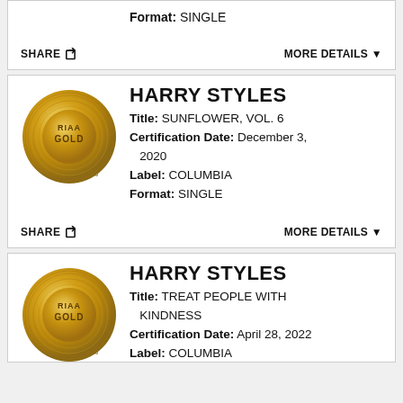[Figure (other): RIAA Gold certification record card (partial, top) showing Format: SINGLE, with SHARE and MORE DETAILS controls]
Format:  SINGLE
SHARE
MORE DETAILS ▼
[Figure (other): RIAA Gold certification record coin logo]
HARRY STYLES
Title:  SUNFLOWER, VOL. 6
Certification Date:  December 3, 2020
Label:  COLUMBIA
Format:  SINGLE
SHARE
MORE DETAILS ▼
[Figure (other): RIAA Gold certification record coin logo]
HARRY STYLES
Title:  TREAT PEOPLE WITH KINDNESS
Certification Date:  April 28, 2022
Label:  COLUMBIA